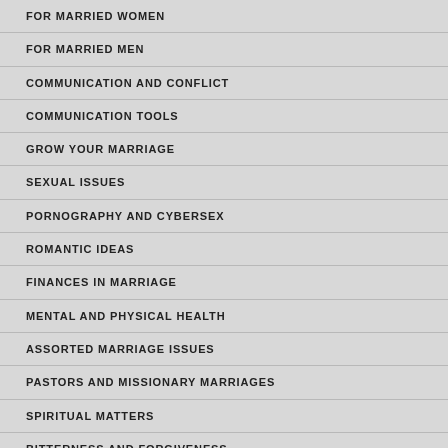FOR MARRIED WOMEN
FOR MARRIED MEN
COMMUNICATION AND CONFLICT
COMMUNICATION TOOLS
GROW YOUR MARRIAGE
SEXUAL ISSUES
PORNOGRAPHY AND CYBERSEX
ROMANTIC IDEAS
FINANCES IN MARRIAGE
MENTAL AND PHYSICAL HEALTH
ASSORTED MARRIAGE ISSUES
PASTORS AND MISSIONARY MARRIAGES
SPIRITUAL MATTERS
BITTERNESS AND FORGIVENESS